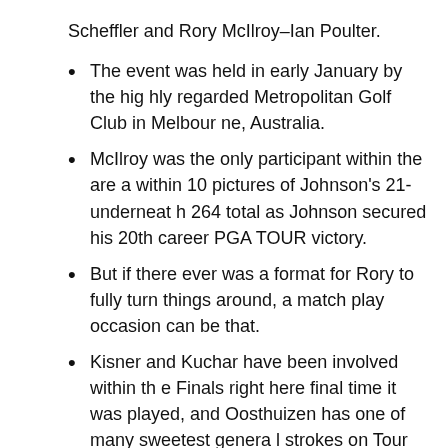Scheffler and Rory McIlroy–Ian Poulter.
The event was held in early January by the highly regarded Metropolitan Golf Club in Melbourne, Australia.
McIlroy was the only participant within the area within 10 pictures of Johnson's 21-underneath 264 total as Johnson secured his 20th career PGA TOUR victory.
But if there ever was a format for Rory to fully turn things around, a match play occasion can be that.
Kisner and Kuchar have been involved within the Finals right here final time it was played, and Oosthuizen has one of many sweetest general strokes on Tour when it's going.
There is simply about 20 years of historical past there, in order that's essential to notice, pev